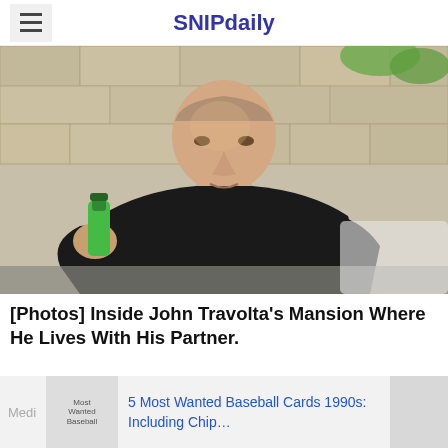SNIPdaily
[Figure (photo): Man in black shirt holding a green bottle, seated outdoors near a stone wall]
[Photos] Inside John Travolta's Mansion Where He Lives With His Partner.
[Figure (screenshot): Bottom ad bar: Most Wanted Baseball image placeholder and link '5 Most Wanted Baseball Cards 1990s: Including Chip...']